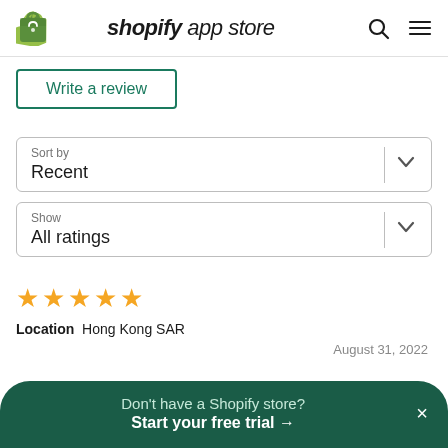shopify app store
Write a review
Sort by
Recent
Show
All ratings
★★★★★  August 31, 2022
Location  Hong Kong SAR
Don't have a Shopify store?
Start your free trial →